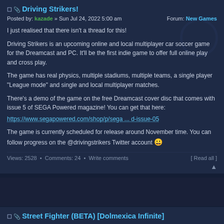Driving Strikers!
Posted by: kazade » Sun Jul 24, 2022 5:00 am    Forum: New Games
I just realised that there isn't a thread for this!
Driving Strikers is an upcoming online and local multiplayer car soccer game for the Dreamcast and PC. It'll be the first indie game to offer full online play and cross play.
The game has real physics, multiple stadiums, multiple teams, a single player "League mode" and single and local multiplayer matches.
There's a demo of the game on the free Dreamcast cover disc that comes with issue 5 of SEGA Powered magazine! You can get that here: https://www.segapowered.com/shop/p/sega ... d-issue-05
The game is currently scheduled for release around November time. You can follow progress on the @drivingstrikers Twitter account 😀
Views: 2528  •  Comments: 24  •  Write comments    [ Read all ]
Street Fighter (BETA) [Dolmexica Infinite]